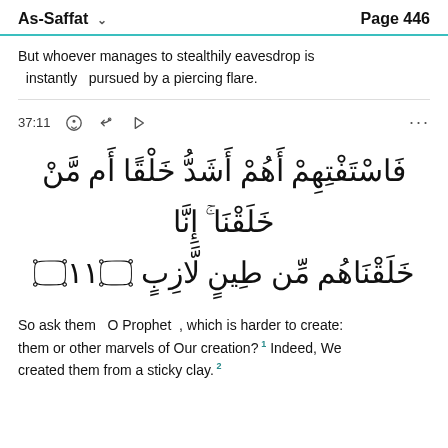As-Saffat  Page 446
But whoever manages to stealthily eavesdrop is instantly   pursued by a piercing flare.
37:11
[Figure (other): Arabic Quranic verse 37:11]
So ask them   O Prophet  , which is harder to create: them or other marvels of Our creation? 1 Indeed, We created them from a sticky clay. 2